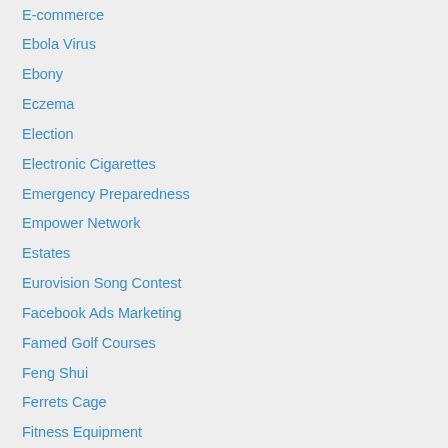E-commerce
Ebola Virus
Ebony
Eczema
Election
Electronic Cigarettes
Emergency Preparedness
Empower Network
Estates
Eurovision Song Contest
Facebook Ads Marketing
Famed Golf Courses
Feng Shui
Ferrets Cage
Fitness Equipment